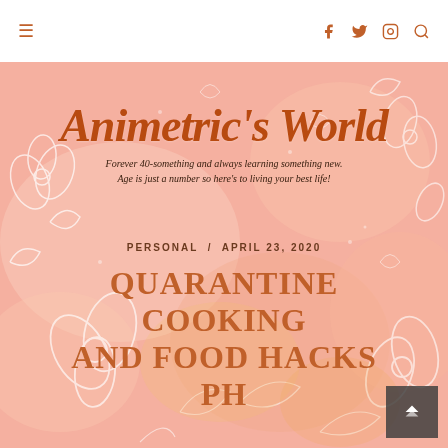≡  f  🐦  📷  🔍
[Figure (illustration): Pink floral watercolor background with white outlined flowers and leaves, warm peach and salmon tones]
Animetric's World
Forever 40-something and always learning something new. Age is just a number so here's to living your best life!
PERSONAL  /  APRIL 23, 2020
QUARANTINE COOKING AND FOOD HACKS PH